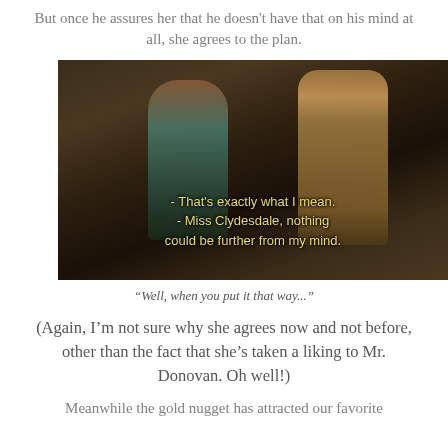But once he assures her that he doesn't have that on his mind at all, she agrees to the plan.
[Figure (screenshot): Movie still showing two people in a barn. A woman with curly red hair in a green apron and blue shirt faces a man in a tan coat and wide-brimmed hat. Subtitle text reads: '- That's exactly what I mean. - Miss Clydesdale, nothing could be further from my mind.']
“Well, when you put it that way...”
(Again, I’m not sure why she agrees now and not before, other than the fact that she’s taken a liking to Mr. Donovan. Oh well!)
Meanwhile the gold nugget has attracted our favorite